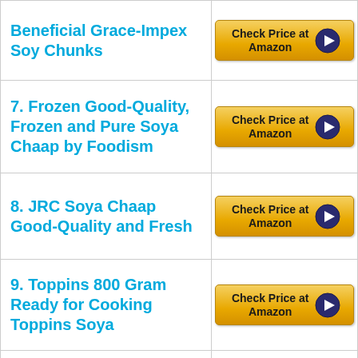| Product | Link |
| --- | --- |
| Beneficial Grace-Impex Soy Chunks | Check Price at Amazon |
| 7. Frozen Good-Quality, Frozen and Pure Soya Chaap by Foodism | Check Price at Amazon |
| 8. JRC Soya Chaap Good-Quality and Fresh | Check Price at Amazon |
| 9. Toppins 800 Gram Ready for Cooking Toppins Soya | Check Price at Amazon |
| 10. Soya Chaap on the Sticks | Check Price at Amazon |